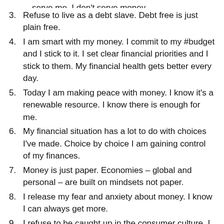(partial, clipped top) serve me. I don't serve money.
3. Refuse to live as a debt slave. Debt free is just plain free.
4. I am smart with my money. I commit to my #budget and I stick to it. I set clear financial priorities and I stick to them. My financial health gets better every day.
5. Today I am making peace with money. I know it's a renewable resource. I know there is enough for me.
6. My financial situation has a lot to do with choices I've made. Choice by choice I am gaining control of my finances.
7. Money is just paper. Economies – global and personal – are built on mindsets not paper.
8. I release my fear and anxiety about money. I know I can always get more.
9. I refuse to be caught up in the consumer culture. I buy what I want and what I need. I'm unconcerned with keeping up with anyone else.
10. (partial, clipped bottom)